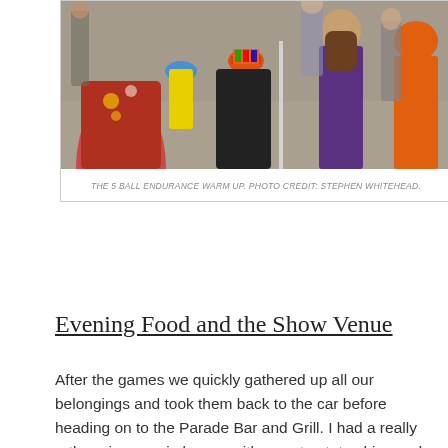[Figure (photo): Crowd of people at an indoor venue participating in what appears to be the 5 ball endurance warm up juggling event. People of various ages are visible from behind and sides.]
THE 5 BALL ENDURANCE WARM UP. PHOTO CREDIT: STEPHEN WHITEHEAD.
Evening Food and the Show Venue
After the games we quickly gathered up all our belongings and took them back to the car before heading on to the Parade Bar and Grill. I had a really rather nice veggie burger with sweet potato chips and Jenni had a steak. We were both impressed with the speed of delivery although I was still peckish after my main so had another portion of chips. It was quite quiet